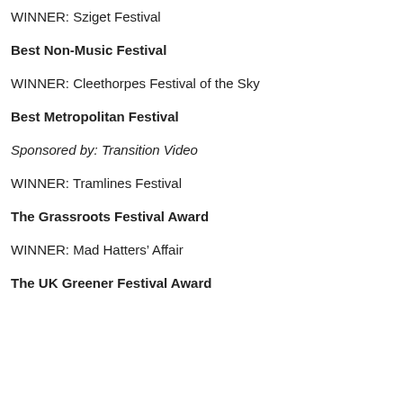WINNER: Sziget Festival
Best Non-Music Festival
WINNER: Cleethorpes Festival of the Sky
Best Metropolitan Festival
Sponsored by: Transition Video
WINNER: Tramlines Festival
The Grassroots Festival Award
WINNER: Mad Hatters’ Affair
The UK Greener Festival Award